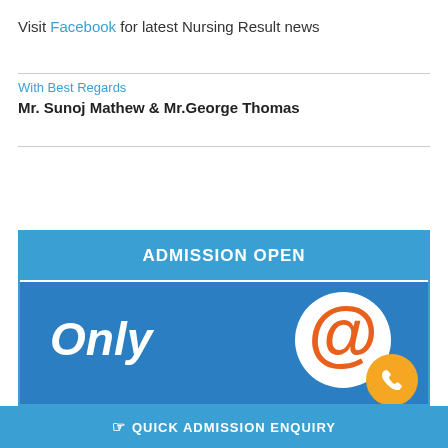Visit Facebook for latest Nursing Result news
With Best Regards
Mr. Sunoj Mathew & Mr.George Thomas
[Figure (infographic): Admission Open banner with 'Only @' text and Sarvodaya branding on blue background with orange at-symbol graphic and phone icon]
QUICK ADMISSION ENQUIRY